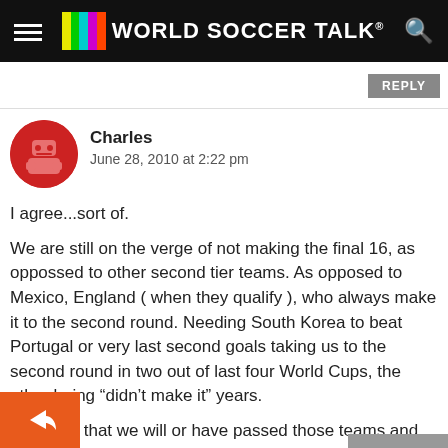World Soccer Talk
REPLY
Charles
June 28, 2010 at 2:22 pm
I agree...sort of.
We are still on the verge of not making the final 16, as oppossed to other second tier teams. As opposed to Mexico, England ( when they qualify ), who always make it to the second round.
Needing South Korea to beat Portugal or very last second goals taking us to the second round in two out of last four World Cups, the other being “didn’t make it” years.
I do think that we will or have passed those teams and perhaps this will be the year we remember. England finishing ond in our group after a tie game with them.